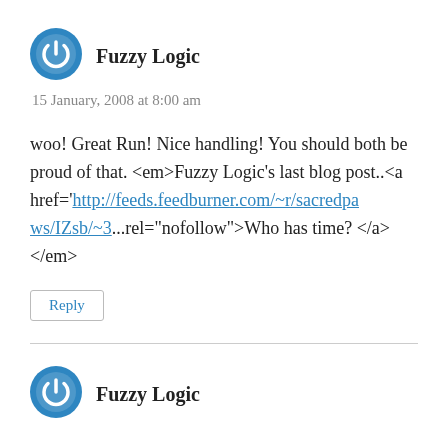[Figure (logo): Circular blue power/refresh icon avatar for Fuzzy Logic]
Fuzzy Logic
15 January, 2008 at 8:00 am
woo! Great Run! Nice handling! You should both be proud of that. <em>Fuzzy Logic's last blog post..<a href='http://feeds.feedburner.com/~r/sacredpaws/IZsb/~3...rel="nofollow">Who has time? </a></em>
Reply
[Figure (logo): Circular blue power/refresh icon avatar for Fuzzy Logic]
Fuzzy Logic